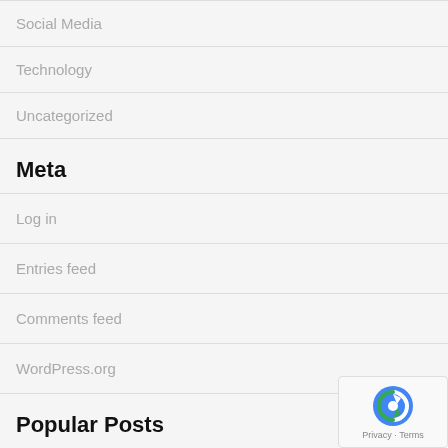Social Media
Technology
Uncategorized
Meta
Log in
Entries feed
Comments feed
WordPress.org
Popular Posts
COVID-19 & ONLINE LEARNING
644 Days ago